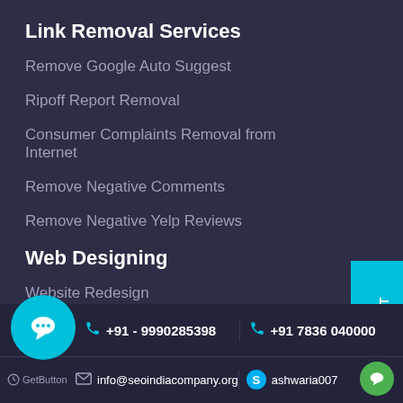Link Removal Services
Remove Google Auto Suggest
Ripoff Report Removal
Consumer Complaints Removal from Internet
Remove Negative Comments
Remove Negative Yelp Reviews
Web Designing
Website Redesign
Website Designing & Development Packages
PSD to HTML Conversion Services
[Figure (infographic): Cyan vertical sidebar button with rotated text LET'S CONNECT]
+91 - 9990285398  +91 7836 040000  info@seoindiacompany.org  ashwaria007